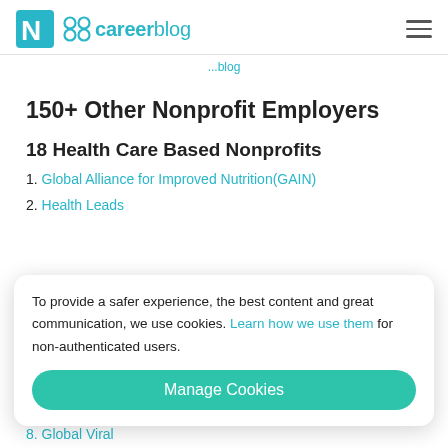careerblog
...blog
150+ Other Nonprofit Employers
18 Health Care Based Nonprofits
1. Global Alliance for Improved Nutrition(GAIN)
2. Health Leads
To provide a safer experience, the best content and great communication, we use cookies. Learn how we use them for non-authenticated users.
Manage Cookies
8. Global Viral